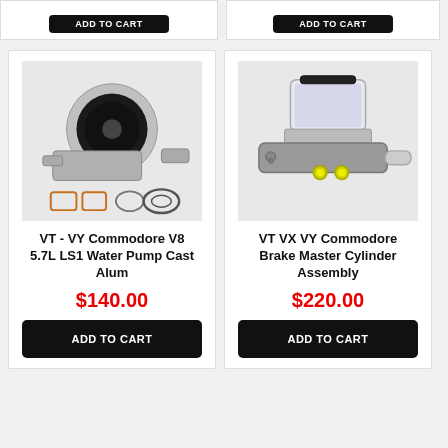[Figure (photo): Partial top of product card with ADD TO CART button (left product, cut off)]
[Figure (photo): Partial top of product card with ADD TO CART button (right product, cut off)]
[Figure (photo): VT-VY Commodore V8 5.7L LS1 Water Pump Cast Alum — water pump and gaskets product photo]
VT - VY Commodore V8 5.7L LS1 Water Pump Cast Alum
$140.00
ADD TO CART
[Figure (photo): VT VX VY Commodore Brake Master Cylinder Assembly — brake master cylinder product photo]
VT VX VY Commodore Brake Master Cylinder Assembly
$220.00
ADD TO CART